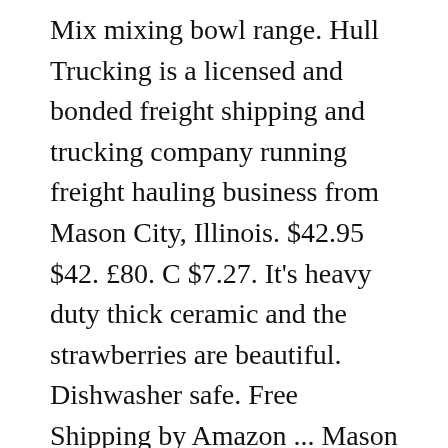Mix mixing bowl range. Hull Trucking is a licensed and bonded freight shipping and trucking company running freight hauling business from Mason City, Illinois. $42.95 $42. £80. C $7.27. It's heavy duty thick ceramic and the strawberries are beautiful. Dishwasher safe. Free Shipping by Amazon ... Mason Cash In The Forest Chip-Resistant Earthenware Mixing Bowl, Size 30/21 cm/1.1 Litre, Green. 1-16 of 104 results for "mason cash bowl" Skip to main search results Amazon Prime. The 2-1/2-cup Mason Cash Fruit Embellished Mixing Bowl, with strawberry design, offers a fun look and a high quality build. The chip resistant